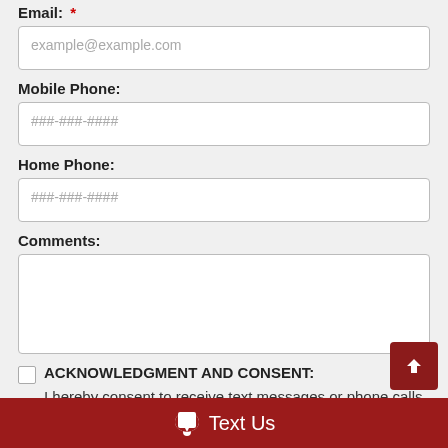Email: *
example@example.com (placeholder)
Mobile Phone:
###-###-#### (placeholder)
Home Phone:
###-###-#### (placeholder)
Comments:
(textarea placeholder)
ACKNOWLEDGMENT AND CONSENT: I hereby consent to receive text messages or phone calls from or on behalf of the dealer or their employees to the mobile phone number I provided
Text Us